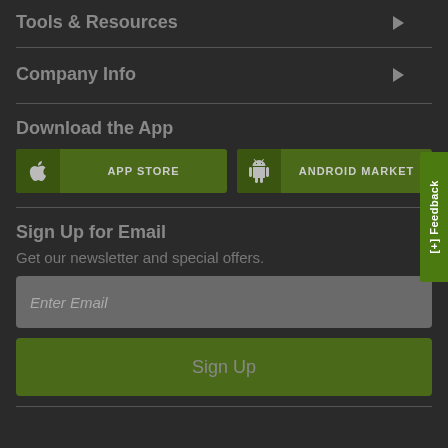Tools & Resources
Company Info
Download the App
[Figure (screenshot): App Store button with Apple logo icon]
[Figure (screenshot): Android Market button with Android robot icon]
Sign Up for Email
Get our newsletter and special offers.
Enter Email
Sign Up
[+] Feedback